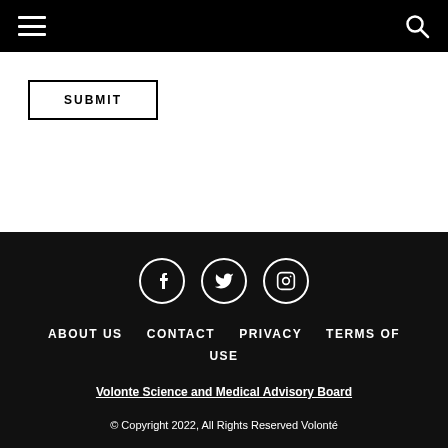Navigation header with hamburger menu and search icon
SUBMIT
Social icons: Facebook, Twitter, Instagram. Nav links: ABOUT US  CONTACT  PRIVACY  TERMS OF USE. Volonte Science and Medical Advisory Board. © Copyright 2022, All Rights Reserved Volonté